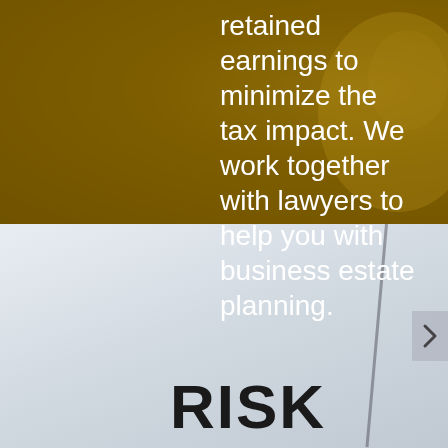[Figure (photo): Golden/olive toned background photo with dark overlay, showing blurred background scene]
retained earnings to minimize the tax impact. We work together with lawyers to help you with business estate planning.
[Figure (photo): Light grey/blue sky background photo with a diagonal mast or pole visible, navigation arrow button on right edge, RISK text overlay at bottom left]
RISK